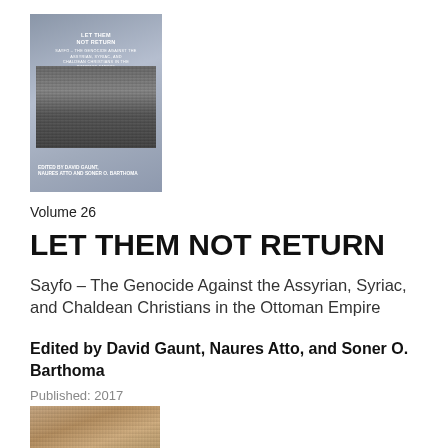[Figure (illustration): Book cover of 'Let Them Not Return' showing a historical photograph of a group of people, with the title text and editors' names, against a gray-blue background]
Volume 26
LET THEM NOT RETURN
Sayfo – The Genocide Against the Assyrian, Syriac, and Chaldean Christians in the Ottoman Empire
Edited by David Gaunt, Naures Atto, and Soner O. Barthoma
Published: 2017
[Figure (photo): Partial view of another book cover showing a historical sepia-toned photograph, cropped at the bottom of the page]